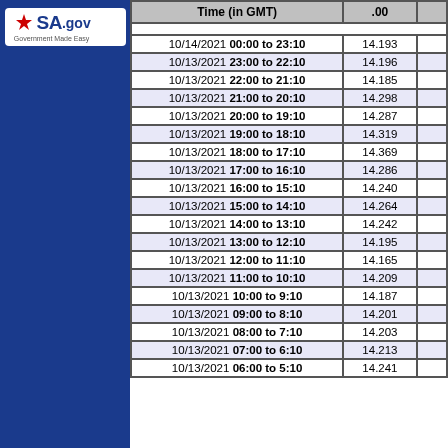[Figure (logo): USA.gov Government Made Easy logo on blue sidebar]
| Time (in GMT) | .00 |  |
| --- | --- | --- |
| 10/14/2021 00:00 to 23:10 | 14.193 |  |
| 10/13/2021 23:00 to 22:10 | 14.196 |  |
| 10/13/2021 22:00 to 21:10 | 14.185 |  |
| 10/13/2021 21:00 to 20:10 | 14.298 |  |
| 10/13/2021 20:00 to 19:10 | 14.287 |  |
| 10/13/2021 19:00 to 18:10 | 14.319 |  |
| 10/13/2021 18:00 to 17:10 | 14.369 |  |
| 10/13/2021 17:00 to 16:10 | 14.286 |  |
| 10/13/2021 16:00 to 15:10 | 14.240 |  |
| 10/13/2021 15:00 to 14:10 | 14.264 |  |
| 10/13/2021 14:00 to 13:10 | 14.242 |  |
| 10/13/2021 13:00 to 12:10 | 14.195 |  |
| 10/13/2021 12:00 to 11:10 | 14.165 |  |
| 10/13/2021 11:00 to 10:10 | 14.209 |  |
| 10/13/2021 10:00 to 9:10 | 14.187 |  |
| 10/13/2021 09:00 to 8:10 | 14.201 |  |
| 10/13/2021 08:00 to 7:10 | 14.203 |  |
| 10/13/2021 07:00 to 6:10 | 14.213 |  |
| 10/13/2021 06:00 to 5:10 | 14.241 |  |